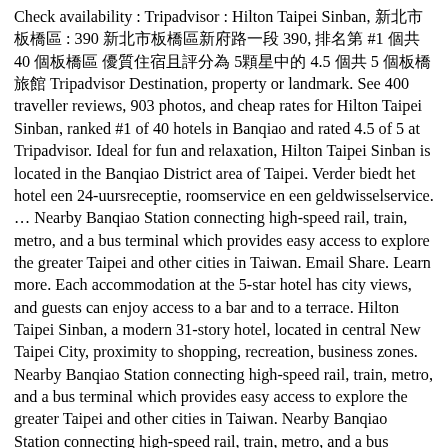Check availability : Tripadvisor : Hilton Taipei Sinban, 新北市板橋區 : 390 新北市板橋區新府路一段 390, 排名第 #1 個共 40 個板橋區 優質住宿且評分為 5顆星中的 4.5 個共 5 個板橋旅館 Tripadvisor Destination, property or landmark. See 400 traveller reviews, 903 photos, and cheap rates for Hilton Taipei Sinban, ranked #1 of 40 hotels in Banqiao and rated 4.5 of 5 at Tripadvisor. Ideal for fun and relaxation, Hilton Taipei Sinban is located in the Banqiao District area of Taipei. Verder biedt het hotel een 24-uursreceptie, roomservice en een geldwisselservice. … Nearby Banqiao Station connecting high-speed rail, train, metro, and a bus terminal which provides easy access to explore the greater Taipei and other cities in Taiwan. Email Share. Learn more. Each accommodation at the 5-star hotel has city views, and guests can enjoy access to a bar and to a terrace. Hilton Taipei Sinban, a modern 31-story hotel, located in central New Taipei City, proximity to shopping, recreation, business zones. Nearby Banqiao Station connecting high-speed rail, train, metro, and a bus terminal which provides easy access to explore the greater Taipei and other cities in Taiwan. Nearby Banqiao Station connecting high-speed rail, train, metro, and a bus terminal which provides easy access to explore the greater Taipei and other cities in Taiwan. Book now and live last minute. Print. Locations; Taiwan; NewTaipei City; Hilton Taipei Sinban; Gallery; How can we help? Oferuje on restaurację, bezpłatny prywatny parking, odkryty basen oraz centrum fitness. Nearby Banqiao Station connecting high-speed rail, train, metro, and a bus terminal which provides easy access to explore the greater Taipei and other cities in Taiwan.